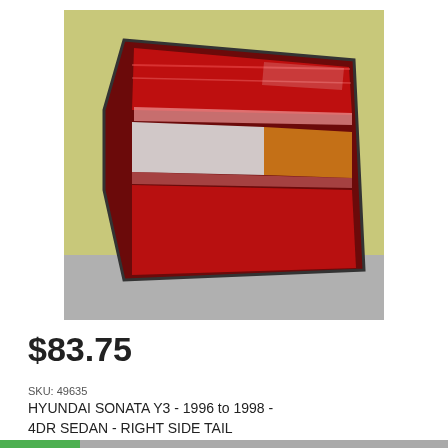[Figure (photo): Photograph of a Hyundai Sonata Y3 right side tail light assembly. The tail light has a triangular shape with red, white/clear, and amber lens sections. It is photographed against a yellowish-green wall background, resting on a gray surface.]
$83.75
SKU: 49635
HYUNDAI SONATA Y3 - 1996 to 1998 - 4DR SEDAN - RIGHT SIDE TAIL LIGHT - HMC 92402-345